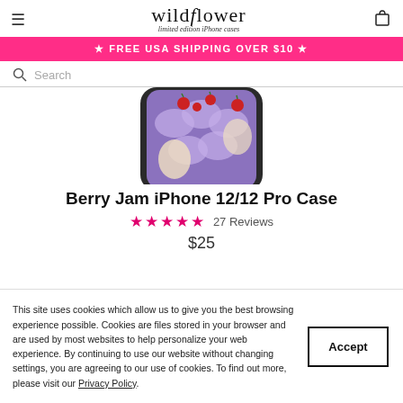wildflower limited edition iPhone cases
★ FREE USA SHIPPING OVER $10 ★
Search
[Figure (photo): Berry Jam iPhone case with purple, strawberry and cloud pattern, shown as bottom portion of phone case]
Berry Jam iPhone 12/12 Pro Case
★★★★★ 27 Reviews
$25
This site uses cookies which allow us to give you the best browsing experience possible. Cookies are files stored in your browser and are used by most websites to help personalize your web experience. By continuing to use our website without changing settings, you are agreeing to our use of cookies. To find out more, please visit our Privacy Policy.